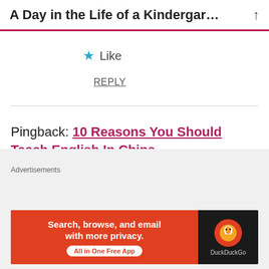A Day in the Life of a Kindergar…
★ Like
REPLY
Pingback: 10 Reasons You Should Teach English In China – rachelmeetschina
Advertisements
[Figure (other): Pressable advertisement: 'The Platform Where WordPress Works Best' with Pressable logo]
Advertisements
[Figure (other): DuckDuckGo advertisement banner: 'Search, browse, and email with more privacy. All in One Free App' with DuckDuckGo logo on dark background]